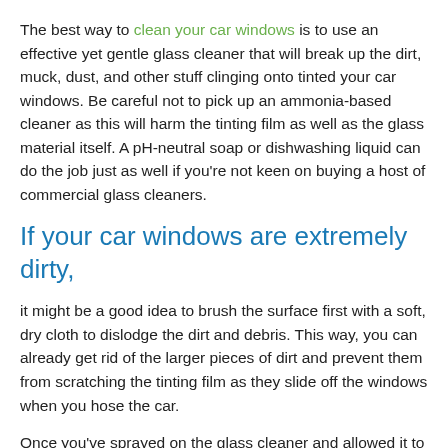The best way to clean your car windows is to use an effective yet gentle glass cleaner that will break up the dirt, muck, dust, and other stuff clinging onto tinted your car windows. Be careful not to pick up an ammonia-based cleaner as this will harm the tinting film as well as the glass material itself. A pH-neutral soap or dishwashing liquid can do the job just as well if you're not keen on buying a host of commercial glass cleaners.
If your car windows are extremely dirty,
it might be a good idea to brush the surface first with a soft, dry cloth to dislodge the dirt and debris. This way, you can already get rid of the larger pieces of dirt and prevent them from scratching the tinting film as they slide off the windows when you hose the car.
Once you've sprayed on the glass cleaner and allowed it to soak through, use a microfiber washcloth to pick up the